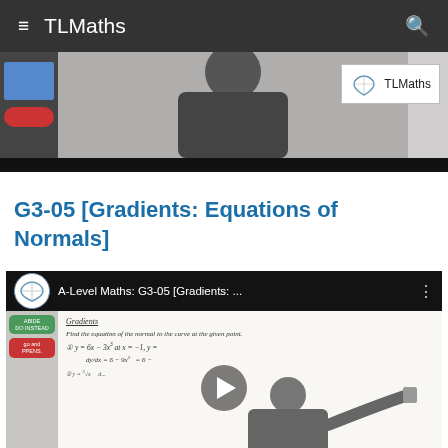TLMaths
[Figure (screenshot): Video thumbnail showing a person at a whiteboard with TLMaths watermark logo in upper right corner]
G3-05 [Gradients: Equations of Normals]
[Figure (screenshot): YouTube video embed for A-Level Maths: G3-05 [Gradients: ...] showing a teacher writing on a whiteboard about Gradients and equations of normals, with a play button overlay]